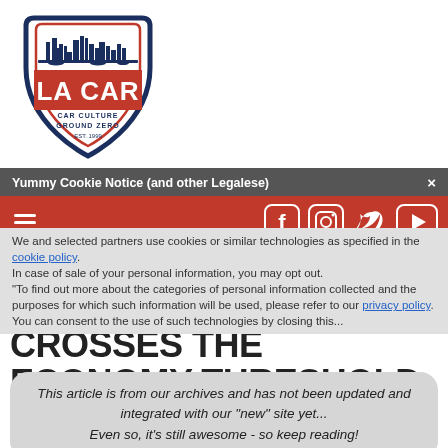[Figure (logo): LA CAR shield logo with cityscape silhouette, red text 'LA CAR', subtitle 'CAR CULTURE GROUND ZERO EST. 1999', navy blue and red on white background]
Yummy Cookie Notice (and other Legalese)  ×
[Figure (infographic): Red navigation bar with hamburger menu icon and social media icons: Facebook, Instagram, Twitter, YouTube]
We and selected partners use cookies or similar technologies as specified in the cookie policy. In case of sale of your personal information, you may opt out. To find out more about the categories of personal information collected and the purposes for which such information will be used, please refer to our privacy policy. You can consent to the use of such technologies by closing this...
A CLASSY ITALIAN CROSSES THE ECONOMY THRESHOLD
This article is from our archives and has not been updated and integrated with our "new" site yet... Even so, it's still awesome - so keep reading!